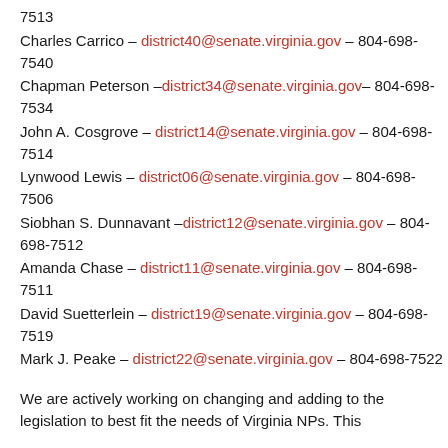7513
Charles Carrico – district40@senate.virginia.gov – 804-698-7540
Chapman Peterson – district34@senate.virginia.gov– 804-698-7534
John A. Cosgrove – district14@senate.virginia.gov – 804-698-7514
Lynwood Lewis – district06@senate.virginia.gov – 804-698-7506
Siobhan S. Dunnavant –district12@senate.virginia.gov – 804-698-7512
Amanda Chase – district11@senate.virginia.gov – 804-698-7511
David Suetterlein – district19@senate.virginia.gov – 804-698-7519
Mark J. Peake – district22@senate.virginia.gov – 804-698-7522
We are actively working on changing and adding to the legislation to best fit the needs of Virginia NPs. This